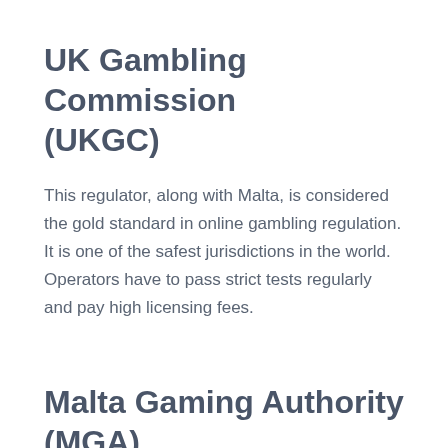UK Gambling Commission (UKGC)
This regulator, along with Malta, is considered the gold standard in online gambling regulation. It is one of the safest jurisdictions in the world. Operators have to pass strict tests regularly and pay high licensing fees.
Malta Gaming Authority (MGA)